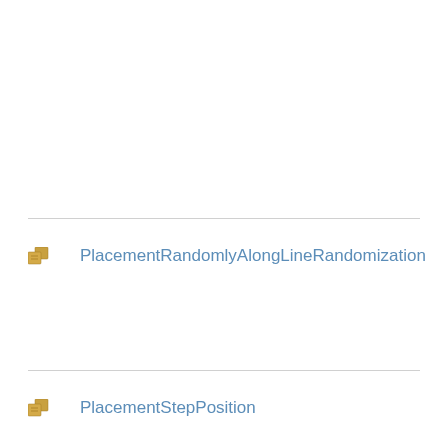PlacementRandomlyAlongLineRandomization
PlacementStepPosition